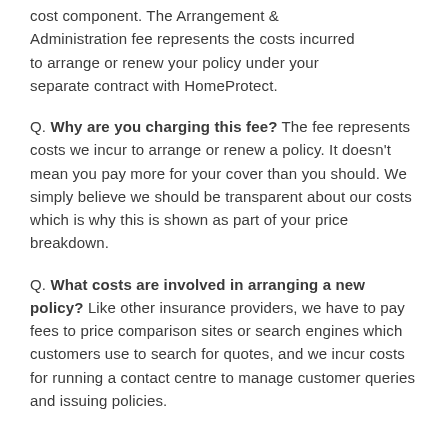cost component. The Arrangement & Administration fee represents the costs incurred to arrange or renew your policy under your separate contract with HomeProtect.
Q. Why are you charging this fee? The fee represents costs we incur to arrange or renew a policy. It doesn't mean you pay more for your cover than you should. We simply believe we should be transparent about our costs which is why this is shown as part of your price breakdown.
Q. What costs are involved in arranging a new policy? Like other insurance providers, we have to pay fees to price comparison sites or search engines which customers use to search for quotes, and we incur costs for running a contact centre to manage customer queries and issuing policies.